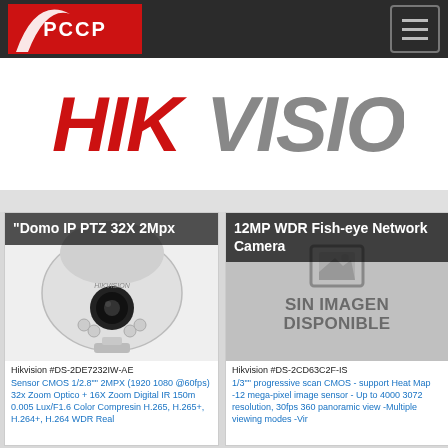PCCP navigation bar with logo and hamburger menu
[Figure (logo): HIKVISION logo in red and gray on white banner background]
"Domo IP PTZ 32X 2Mpx
[Figure (photo): Hikvision PTZ dome IP camera DS-2DE7232IW-AE, white PTZ dome camera]
Hikvision #DS-2DE7232IW-AE
Sensor CMOS 1/2.8"" 2MPX (1920 1080 @60fps) 32x Zoom Optico + 16X Zoom Digital IR 150m 0.005 Lux/F1.6 Color Compresin H.265, H.265+, H.264+, H.264 WDR Real
12MP WDR Fish-eye Network Camera
[Figure (photo): No image placeholder - SIN IMAGEN DISPONIBLE text with image icon]
Hikvision #DS-2CD63C2F-IS
1/3"" progressive scan CMOS - support Heat Map -12 mega-pixel image sensor - Up to 4000 3072 resolution, 30fps 360 panoramic view -Multiple viewing modes -Vir